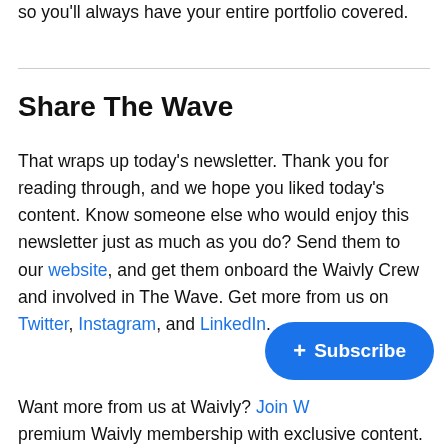so you'll always have your entire portfolio covered.
Share The Wave
That wraps up today's newsletter. Thank you for reading through, and we hope you liked today's content. Know someone else who would enjoy this newsletter just as much as you do? Send them to our website, and get them onboard the Waivly Crew and involved in The Wave. Get more from us on Twitter, Instagram, and LinkedIn.
Want more from us at Waivly? Join W… premium Waivly membership with exclusive content.